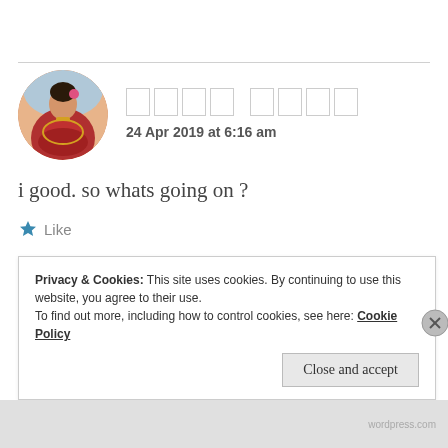[Figure (photo): Circular avatar photo of a woman in traditional Indian attire with jewelry, surrounded by a circular crop]
□□□□ □□□□
24 Apr 2019 at 6:16 am
i good. so whats going on ?
★ Like
Privacy & Cookies: This site uses cookies. By continuing to use this website, you agree to their use.
To find out more, including how to control cookies, see here: Cookie Policy
Close and accept